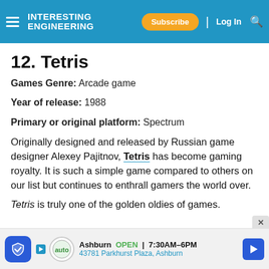Interesting Engineering | Subscribe | Log In
12. Tetris
Games Genre: Arcade game
Year of release: 1988
Primary or original platform: Spectrum
Originally designed and released by Russian game designer Alexey Pajitnov, Tetris has become gaming royalty. It is such a simple game compared to others on our list but continues to enthrall gamers the world over.
Tetris is truly one of the golden oldies of games.
[Figure (screenshot): Advertisement bar at bottom: shield icon, auto repair logo, Ashburn OPEN 7:30AM-6PM, 43781 Parkhurst Plaza Ashburn, navigation arrow icon]